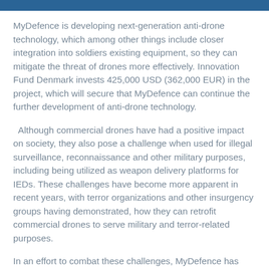MyDefence is developing next-generation anti-drone technology, which among other things include closer integration into soldiers existing equipment, so they can mitigate the threat of drones more effectively. Innovation Fund Denmark invests 425,000 USD (362,000 EUR) in the project, which will secure that MyDefence can continue the further development of anti-drone technology.
Although commercial drones have had a positive impact on society, they also pose a challenge when used for illegal surveillance, reconnaissance and other military purposes, including being utilized as weapon delivery platforms for IEDs. These challenges have become more apparent in recent years, with terror organizations and other insurgency groups having demonstrated, how they can retrofit commercial drones to serve military and terror-related purposes.
In an effort to combat these challenges, MyDefence has